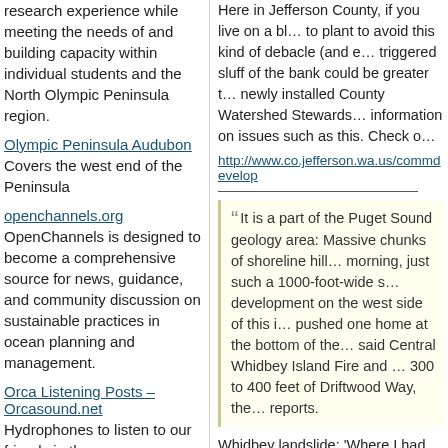research experience while meeting the needs of and building capacity within individual students and the North Olympic Peninsula region.
Olympic Peninsula Audubon Covers the west end of the Peninsula
openchannels.org OpenChannels is designed to become a comprehensive source for news, guidance, and community discussion on sustainable practices in ocean planning and management.
Orca Listening Posts – Orcasound.net Hydrophones to listen to our friends in the sea.
Peninsula College Environmental Education
Here in Jefferson County, if you live on a bl... to plant to avoid this kind of debacle (and e... triggered sluff of the bank could be greater t... newly installed County Watershed Stewards... information on issues such as this. Check o... http://www.co.jefferson.wa.us/commdevelop
It is a part of the Puget Sound geology... area: Massive chunks of shoreline hill... morning, just such a 1000-foot-wide s... development on the west side of this i... pushed one home at the bottom of the... said Central Whidbey Island Fire and ... 300 to 400 feet of Driftwood Way, the... reports.
Whidbey landslide: 'Where I had been stan...
http://www.king5.com/news/local/35-homes... 200419841.html
http://seattletimes.com/html/localnews/2020...